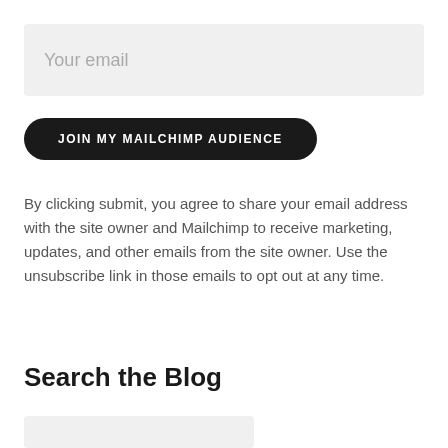Your email
JOIN MY MAILCHIMP AUDIENCE
By clicking submit, you agree to share your email address with the site owner and Mailchimp to receive marketing, updates, and other emails from the site owner. Use the unsubscribe link in those emails to opt out at any time.
Search the Blog